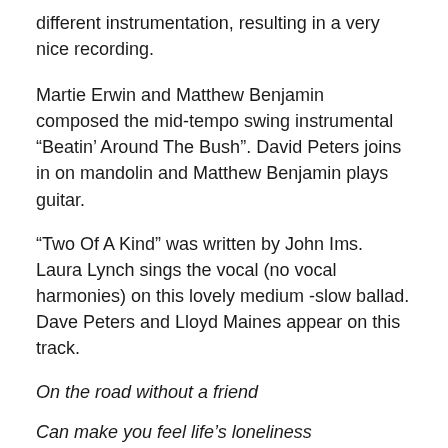different instrumentation, resulting in a very nice recording.
Martie Erwin and Matthew Benjamin composed the mid-tempo swing instrumental “Beatin’ Around The Bush”. David Peters joins in on mandolin and Matthew Benjamin plays guitar.
“Two Of A Kind” was written by John Ims. Laura Lynch sings the vocal (no vocal harmonies) on this lovely medium -slow ballad. Dave Peters and Lloyd Maines appear on this track.
On the road without a friend
Can make you feel life’s loneliness
In a voice that rides the wind
Streaming ‘cross the airwaves